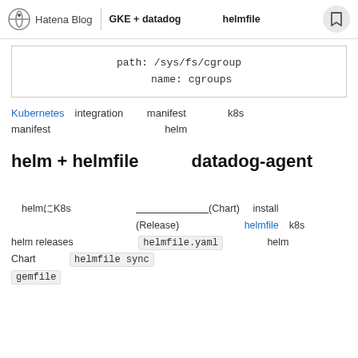Hatena Blog | GKE + datadog　　　helmfile
path: /sys/fs/cgroup
    name: cgroups
Kubernetes integration　　 manifest　　　　　k8s　　　　　　　　　　　 manifest　　　　　　　　　　　　　　　helm
helm + helmfile　　　datadog-agent
helmにK8s　　　　　　　　　　　 　　　　　　　　(Chart)　 install　　　　　　　　　　　　　　　　　　　　　　　(Release)　　　　　　　 　　helmfile k8s　　　　helm releases　　　　　　　　　　 helmfile.yaml 　　　　　　helm Chart　　　　 helmfile sync 　　　　　　　　　　　　　　　　　 gemfile